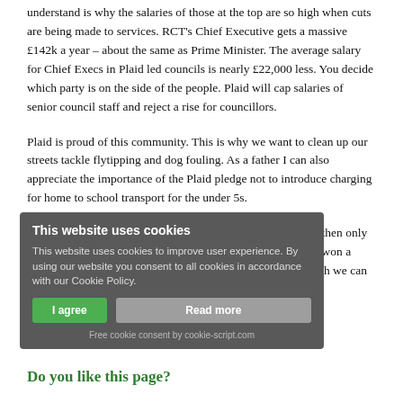understand is why the salaries of those at the top are so high when cuts are being made to services. RCT's Chief Executive gets a massive £142k a year – about the same as Prime Minister. The average salary for Chief Execs in Plaid led councils is nearly £22,000 less. You decide which party is on the side of the people. Plaid will cap salaries of senior council staff and reject a rise for councillors.
Plaid is proud of this community. This is why we want to clean up our streets tackle flytipping and dog fouling. As a father I can also appreciate the importance of the Plaid pledge not to introduce charging for home to school transport for the under 5s.
If you want a better future for Llantwit Fardre and Efail Isaf then only the Party of Wales can deliver the change we need. We have won a majority of seats in the past and with your support on May 4th we can do it again.
[Figure (other): Cookie consent popup overlay with title 'This website uses cookies', body text explaining cookie usage, 'I agree' and 'Read more' buttons, and a footer line 'Free cookie consent by cookie-script.com']
Do you like this page?